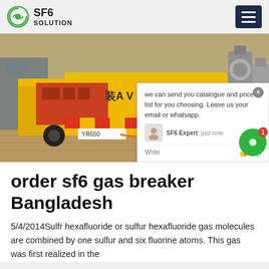SF6 SOLUTION
[Figure (photo): Yellow SF6 gas service truck at an electrical substation with industrial equipment visible. A chat popup overlay is present showing a message from SF6 Expert.]
order sf6 gas breaker Bangladesh
5/4/2014Sulfr hexafluoride or sulfur hexafluoride gas molecules are combined by one sulfur and six fluorine atoms. This gas was first realized in the